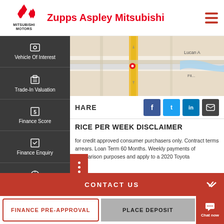[Figure (logo): Mitsubishi Motors logo with three red diamond shapes and text MITSUBISHI MOTORS]
Zupps Aspley Mitsubishi
[Figure (map): Street map showing road with yellow highlighted route, Lucan street label visible]
SHARE
PRICE PER WEEK DISCLAIMER
for credit approved consumer purchasers only. Contract terms arrears. Loan Term 60 Months. Weekly payments of comparison purposes and apply to a 2020 Toyota
CONTACT US
FINANCE PRE-APPROVAL
PLACE DEPOSIT
Chat now